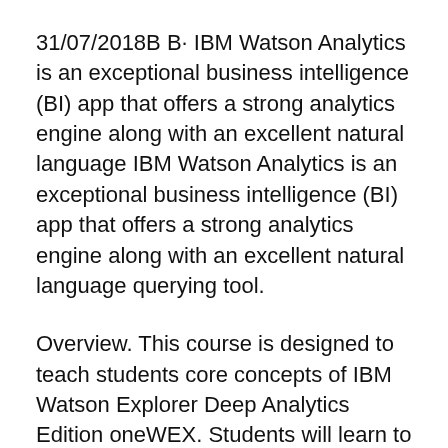31/07/2018B B· IBM Watson Analytics is an exceptional business intelligence (BI) app that offers a strong analytics engine along with an excellent natural language IBM Watson Analytics is an exceptional business intelligence (BI) app that offers a strong analytics engine along with an excellent natural language querying tool.
Overview. This course is designed to teach students core concepts of IBM Watson Explorer Deep Analytics Edition oneWEX. Students will learn to identify the oneWEX Scenario for the tutorial In this tutorial, you'r e a Human Resour ces manager who has been given a big